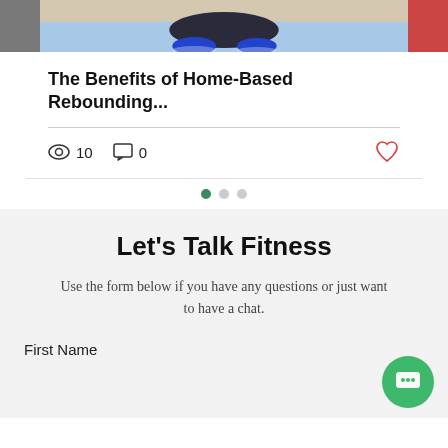[Figure (photo): Top banner showing partial fitness/exercise photo — blue sneakers on yoga mat visible in center, dark panels on sides]
The Benefits of Home-Based Rebounding...
10  0
[Figure (infographic): Pagination dots — three dots, first green (active), second and third gray]
Let's Talk Fitness
Use the form below if you have any questions or just want to have a chat.
First Name